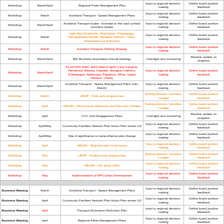|  | Month | Topic | Purpose | Outcome |
| --- | --- | --- | --- | --- |
| Workshop | March/April | Regional Parks Management Plan | Input to regional decision-making | Define board position feedback |
| Workshop | March | Auckland Transport - Speed Management Plans | Input to regional decision-making | Define board position feedback |
| Workshop | March/April | Auckland Transport bylaw - Activities in the road corridor (omnibus bylaw) | Input to regional decision-making | Define board position feedback |
| Workshop | March | Light Rail (Pukekohe, Albert Eden, Puketapapa, Maungakiekie-Tamaki, Mangere-Otahuhu, Otara-Papatoetoe Local Boards) | Input to regional decision-making | Define board position feedback |
| Workshop | March | Auckland Transport Parking Strategy | Input to regional decision-making | Define board position feedback |
| Workshop | March/April | BID Business Association Annual briefings | Oversight and monitoring | Receive update on progress |
| Workshop | March/April | 22-23 FIFA WWC 2023 (March-April) (Only 9 boards: Henderson-Massey, Kaipatiki, Mangere-Otahuhu, Puketapapa, Waitemata, Papakura, Whau, Upper Harbour, Oraka) | Input to regional decision-making | Define board position feedback |
| Workshop | March/April | Auckland Transport - Speed Management Plans (Jan-March) | Input to regional decision-making | Define board position feedback |
| Workshop | March | LBWP - Draft work programmes | Setting direction / priorities / budget | Define board position feedback |
| Workshop | April | AB/LBA - Performance Measures and Fees and Charges | Setting direction / priorities / budget | Define board position feedback |
| Workshop | April | CCO Joint Engagement Plans | Oversight and monitoring | Receive update on progress |
| Workshop | April/May | Community Facilities Network Plan Action Plan review 1/2 | Input to regional decision-making | Define board position feedback |
| Workshop | April/May | Site of significance to mana whenua plan change | Input to regional decision-making | Define board position feedback |
| Workshop | April | AB/LBA - Regional input & advocacy | Input to regional decision-making | Define board position feedback |
| Workshop | May | LBWP - Finalise work programmes | Setting direction / priorities / budget | Define board position feedback |
| Workshop | May | AB/LBA - LBs adopt LBAs | Input to regional decision-making | Define board position feedback |
| Workshop | May | Implementation of NPS Urban Development | Input to regional decision-making | Define board position feedback |
| DIVIDER |  |  |  |  |
| Business Meeting | March | Auckland Transport - Speed Management Plans | Input to regional decision-making | Define board position feedback |
| Business Meeting | April | Community Facilities Network Plan Action Plan review 1/2 | Input to regional decision-making | Define board position feedback |
| Business Meeting | April | Transport Emissions Reduction Plan | Input to regional decision-making | Define board position feedback |
| Business Meeting | April | Regional Parks Management Plans | Input to regional decision-making | Define board position feedback |